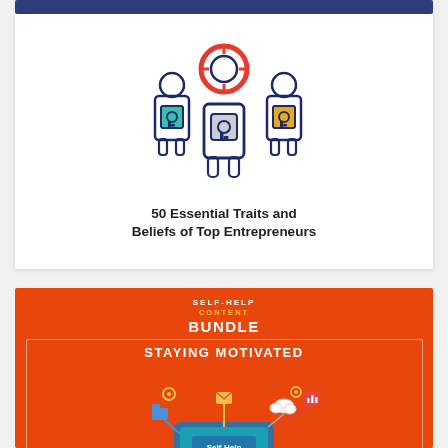[Figure (illustration): Three stylized figures with key icons on their chests; the central figure is larger with a red target/crosshair ring around its head. Left figure is teal, center is grey with crosshair, right is golden-yellow. All have navy blue outlines.]
50 Essential Traits and Beliefs of Top Entrepreneurs
[Figure (illustration): Orange banner/card for 'Self-Help Content Bundle: Staying Motivated'. Contains white and yellow text and a digital illustration of hands holding a tablet with app/technology icons floating above it in a connected network pattern. A 'Self-Help' label is on the tablet screen.]